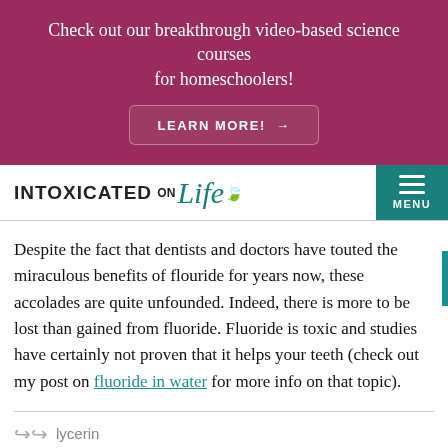Check out our breakthrough video-based science courses for homeschoolers!
LEARN MORE! →
INTOXICATED ON Life
Despite the fact that dentists and doctors have touted the miraculous benefits of flouride for years now, these accolades are quite unfounded. Indeed, there is more to be lost than gained from fluoride. Fluoride is toxic and studies have certainly not proven that it helps your teeth (check out my post on fluoride in water for more info on that topic).
lycerin